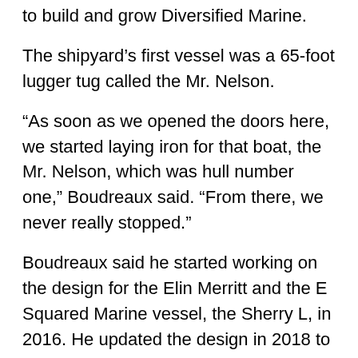to build and grow Diversified Marine.
The shipyard's first vessel was a 65-foot lugger tug called the Mr. Nelson.
“As soon as we opened the doors here, we started laying iron for that boat, the Mr. Nelson, which was hull number one,” Boudreaux said. “From there, we never really stopped.”
Boudreaux said he started working on the design for the Elin Merritt and the E Squared Marine vessel, the Sherry L, in 2016. He updated the design in 2018 to be compliant with Subchapter M, and he’s now updating the design to meet Tier 4 standards. Diversified started the E Squared Marine boat in 2018.